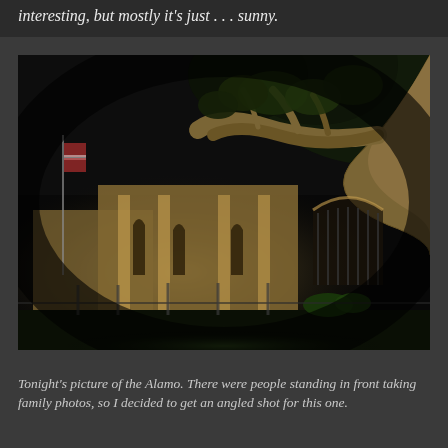interesting, but mostly it's just . . . sunny.
[Figure (photo): Nighttime photograph of the Alamo in San Antonio, illuminated by artificial lights. A large tree with a wide-spreading branch dominates the right foreground. The historic stone facade of the Alamo is lit from below, with iron fencing visible.]
Tonight's picture of the Alamo. There were people standing in front taking family photos, so I decided to get an angled shot for this one.